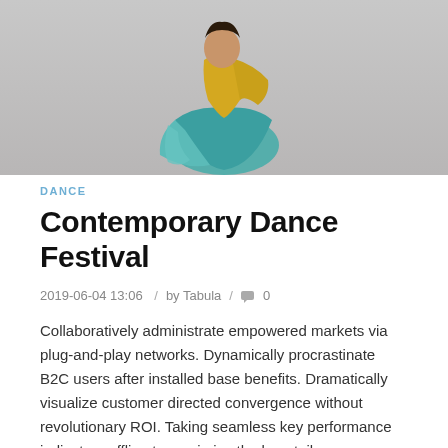[Figure (photo): A dancer in yellow and teal/turquoise flowing fabric in a crouched pose against a light gray background]
DANCE
Contemporary Dance Festival
2019-06-04 13:06  /  by Tabula  /  💬 0
Collaboratively administrate empowered markets via plug-and-play networks. Dynamically procrastinate B2C users after installed base benefits. Dramatically visualize customer directed convergence without revolutionary ROI. Taking seamless key performance indicators offline to maximise the long tail.